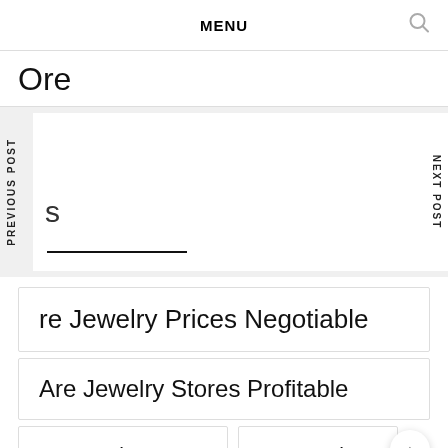MENU
Ore
PREVIOUS POST
NEXT POST
re Jewelry Prices Negotiable
Are Jewelry Stores Profitable
For Jewelry Logo
For Jewelry Stone